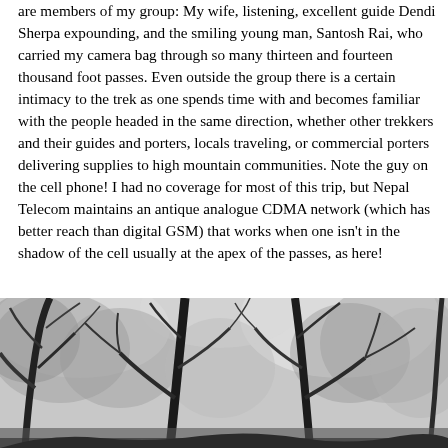are members of my group: My wife, listening, excellent guide Dendi Sherpa expounding, and the smiling young man, Santosh Rai, who carried my camera bag through so many thirteen and fourteen thousand foot passes. Even outside the group there is a certain intimacy to the trek as one spends time with and becomes familiar with the people headed in the same direction, whether other trekkers and their guides and porters, locals traveling, or commercial porters delivering supplies to high mountain communities. Note the guy on the cell phone! I had no coverage for most of this trip, but Nepal Telecom maintains an antique analogue CDMA network (which has better reach than digital GSM) that works when one isn't in the shadow of the cell usually at the apex of the passes, as here!
[Figure (photo): Black and white photograph of large trees with bare and leafy branches shot from below, looking up toward a bright sky. The image appears to show a forest canopy, possibly rhododendron or similar mountain trees.]